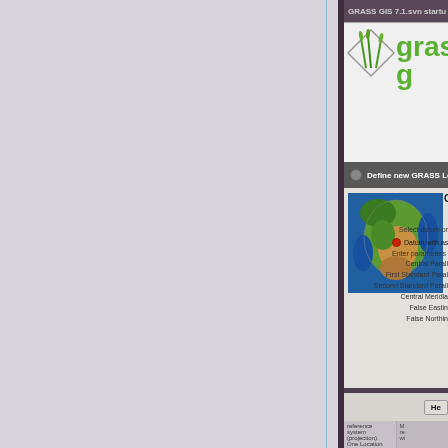[Figure (screenshot): Screenshot of GRASS GIS 7.1.svn startup dialog showing 'Define new GRASS Location' window with a world map image on the left and projection setup options on the right including 'Choose projection', datum/ellipsoid selection, and parameter fields (Central Parallel, First Standard Parallel, Second Standard Parallel, Central Meridian, False Easting, False Northing). Below is a button row with 'He...' button. The bottom of the screen shows text about reference system (projection), Location, and Mapsets.]